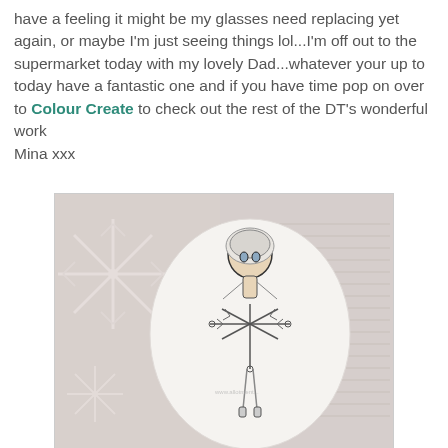have a feeling it might be my glasses need replacing yet again, or maybe I'm just seeing things lol...I'm off out to the supermarket today with my lovely Dad...whatever your up to today have a fantastic one and if you have time pop on over to Colour Create to check out the rest of the DT's wonderful work
Mina xxx
[Figure (photo): A crafted snowflake fairy figure on a white oval background, surrounded by white decorative snowflake cutouts. The fairy has white/silver hair and a snowflake-shaped dress/skirt, illustrated in a whimsical style.]